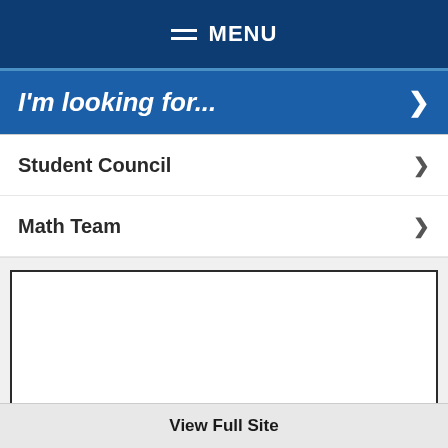MENU
I'm looking for...
Student Council
Math Team
[Figure (photo): A photo strip showing what appears to be the interior ceiling/roof structure of a gymnasium or large building with wooden beams visible]
View Full Site